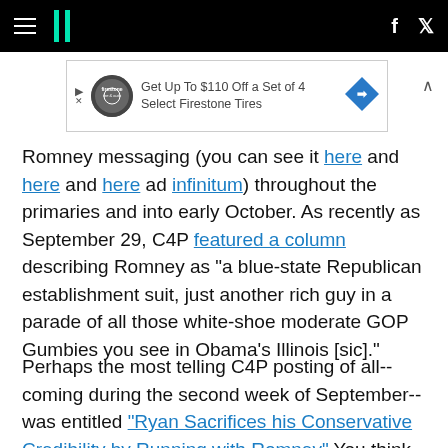HuffPost navigation bar with hamburger menu, logo, Facebook and Twitter links
[Figure (other): Advertisement banner: Get Up To $110 Off a Set of 4 Select Firestone Tires]
Romney messaging (you can see it here and here and here ad infinitum) throughout the primaries and into early October. As recently as September 29, C4P featured a column describing Romney as "a blue-state Republican establishment suit, just another rich guy in a parade of all those white-shoe moderate GOP Gumbies you see in Obama's Illinois [sic]."
Perhaps the most telling C4P posting of all-- coming during the second week of September-- was entitled "Ryan Sacrifices his Conservative Credibility by Running with Romney". You think